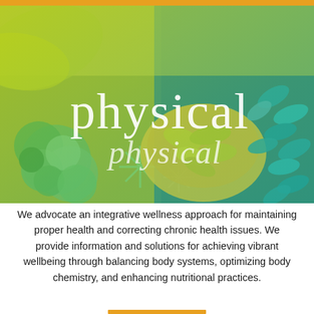[Figure (photo): Hero image showing vegetables, supplements/capsules, and broccoli with a yellow-green to teal color gradient overlay. Large text 'physical' appears in white serif font, with italic 'physical' below it. Background has an orange bar at top.]
We advocate an integrative wellness approach for maintaining proper health and correcting chronic health issues. We provide information and solutions for achieving vibrant wellbeing through balancing body systems, optimizing body chemistry, and enhancing nutritional practices.